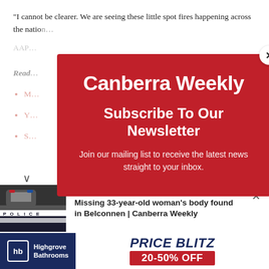“I cannot be clearer. We are seeing these little spot fires happening across the natio…
AAP…
Read…
M…
Y…
S…
[Figure (screenshot): Canberra Weekly newsletter subscription modal overlay with red background, white logo text 'Canberra Weekly', heading 'Subscribe To Our Newsletter', body text 'Join our mailing list to receive the latest news straight to your inbox.', and a close (X) button in the top right corner.]
[Figure (photo): Police scene photo showing checkered police tape or vehicle, dark and blurry]
Missing 33-year-old woman’s body found in Belconnen | Canberra Weekly
[Figure (logo): Highgrove Bathrooms advertisement banner with blue background, hb logo, 'Highgrove Bathrooms' text, and 'PRICE BLITZ 20-50% OFF' promo on white background]